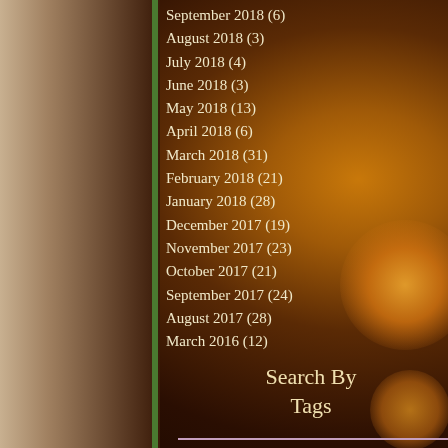September 2018 (6)
August 2018 (3)
July 2018 (4)
June 2018 (3)
May 2018 (13)
April 2018 (6)
March 2018 (31)
February 2018 (21)
January 2018 (28)
December 2017 (19)
November 2017 (23)
October 2017 (21)
September 2017 (24)
August 2017 (28)
March 2016 (12)
Search By Tags
photos
photos shahrukh khan
police
priyanka chopra